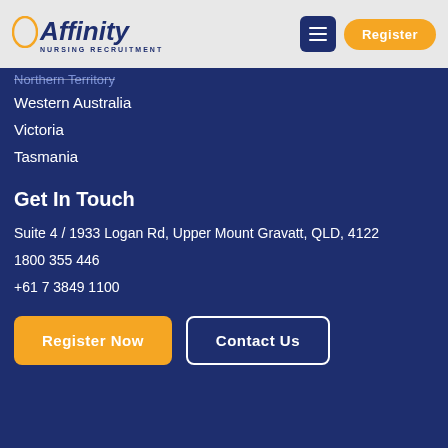[Figure (logo): Affinity Nursing Recruitment logo with gold circle and dark navy text]
Northern Territory
Western Australia
Victoria
Tasmania
Get In Touch
Suite 4 / 1933 Logan Rd, Upper Mount Gravatt, QLD, 4122
1800 355 446
+61 7 3849 1100
Register Now
Contact Us